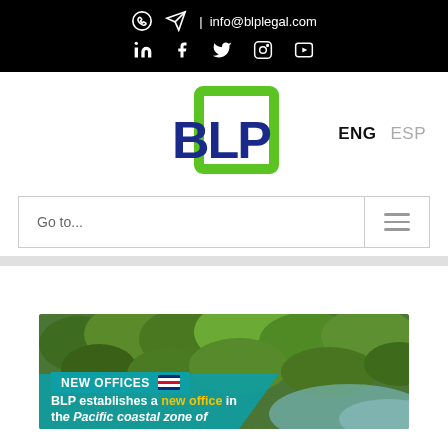info@blplegal.com — social media icons (WhatsApp, Telegram, LinkedIn, Facebook, Twitter, Instagram, YouTube)
[Figure (logo): BLP Legal logo with green square bracket and blue BLP text]
ENG   ESP
Go to...
NEW OFFICES
BLP establishes a new office in the Pacific coastal zone of